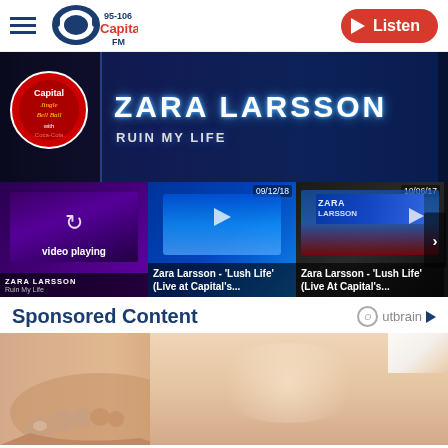[Figure (screenshot): Capital FM website header with hamburger menu, Capital FM 95-106 logo, and red Listen button]
[Figure (screenshot): Hero video player showing Zara Larsson - Ruin My Life at Jingle Bell Ball, dark blue background with LED display text]
[Figure (screenshot): Video thumbnail carousel showing: 1) Zara Larsson video playing, 2) Zara Larsson Lush Life Live at Capital's dated 09/12/18, 3) Zara Larsson Lush Life Live At Capital's dated 10/06/17]
Sponsored Content
[Figure (photo): Sponsored content image showing a person's feet and leg on white background]